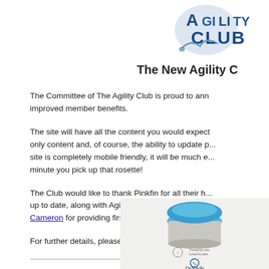[Figure (logo): Agility Club logo with scissor/bird graphic and text CLUB]
The New Agility C
The Committee of The Agility Club is proud to announce the launch of the new website and improved member benefits.
The site will have all the content you would expect, including members only content and, of course, the ability to update personal details. As the site is completely mobile friendly, it will be much easier to post that photo the minute you pick up that rosette!
The Club would like to thank Pinkfin for all their hard work keeping the site up to date, along with Agilitynet for letting us share their content, Stuart Cameron for providing first class images. Can you...
For further details, please contact annualawards@a...
[Figure (photo): Advertisement image showing a blue-capped product (Dralade) with trusted/loved by vets badge]